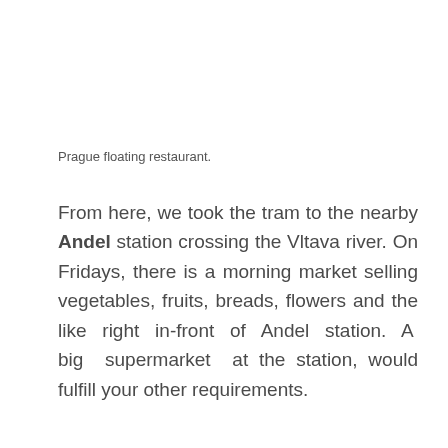Prague floating restaurant.
From here, we took the tram to the nearby Andel station crossing the Vltava river. On Fridays, there is a morning market selling vegetables, fruits, breads, flowers and the like right in-front of Andel station. A big supermarket at the station, would fulfill your other requirements.